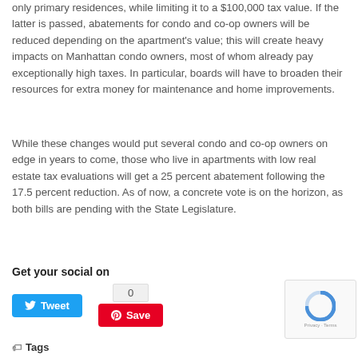only primary residences, while limiting it to a $100,000 tax value. If the latter is passed, abatements for condo and co-op owners will be reduced depending on the apartment's value; this will create heavy impacts on Manhattan condo owners, most of whom already pay exceptionally high taxes. In particular, boards will have to broaden their resources for extra money for maintenance and home improvements.
While these changes would put several condo and co-op owners on edge in years to come, those who live in apartments with low real estate tax evaluations will get a 25 percent abatement following the 17.5 percent reduction. As of now, a concrete vote is on the horizon, as both bills are pending with the State Legislature.
Get your social on
[Figure (screenshot): Social sharing buttons: Tweet button (Twitter/blue), Pinterest Save button with count of 0, and reCAPTCHA widget]
Tags